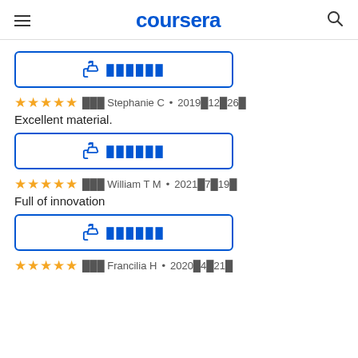coursera
[Figure (other): Helpful button with thumbs up icon and redacted text]
★★★★★  ███ Stephanie C • 2019█12█26█
Excellent material.
[Figure (other): Helpful button with thumbs up icon and redacted text]
★★★★★  ███ William T M • 2021█7█19█
Full of innovation
[Figure (other): Helpful button with thumbs up icon and redacted text]
★★★★★  ███ Francilia H • 2020█4█21█